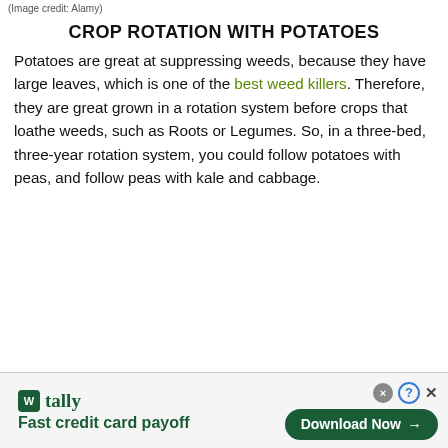(Image credit: Alamy)
CROP ROTATION WITH POTATOES
Potatoes are great at suppressing weeds, because they have large leaves, which is one of the best weed killers. Therefore, they are great grown in a rotation system before crops that loathe weeds, such as Roots or Legumes. So, in a three-bed, three-year rotation system, you could follow potatoes with peas, and follow peas with kale and cabbage.
[Figure (other): Tally advertisement banner: logo with green icon and 'tally' text, tagline 'Fast credit card payoff', Download Now button, close/question icons]